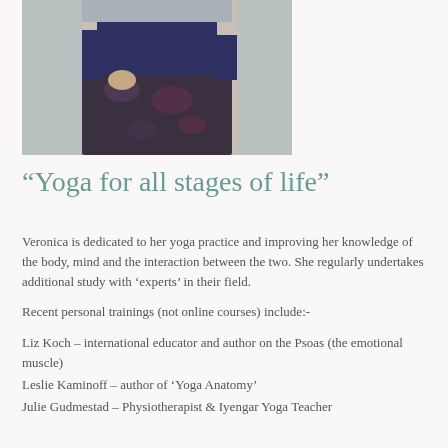[Figure (photo): Partial photo of a person (Veronica) wearing dark floral-patterned pants and a dark blue top, cropped at torso level.]
“Yoga for all stages of life”
Veronica is dedicated to her yoga practice and improving her knowledge of the body, mind and the interaction between the two. She regularly undertakes additional study with ‘experts’ in their field.
Recent personal trainings (not online courses) include:-
Liz Koch – international educator and author on the Psoas (the emotional muscle)
Leslie Kaminoff – author of ‘Yoga Anatomy’
Julie Gudmestad – Physiotherapist & Iyengar Yoga Teacher